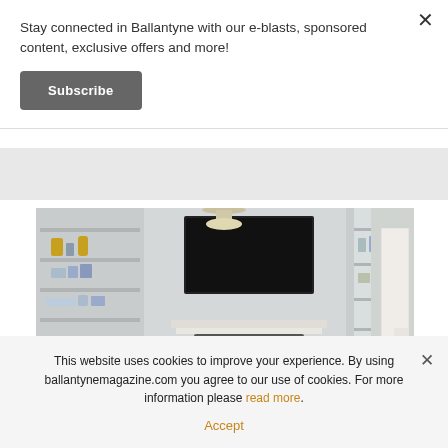Stay connected in Ballantyne with our e-blasts, sponsored content, exclusive offers and more!
Subscribe
[Figure (photo): Living room interior with built-in bookshelves, fireplace with TV above, white sofas, wooden coffee table, and hallway visible on the right]
This website uses cookies to improve your experience. By using ballantynemagazine.com you agree to our use of cookies. For more information please read more.
Accept